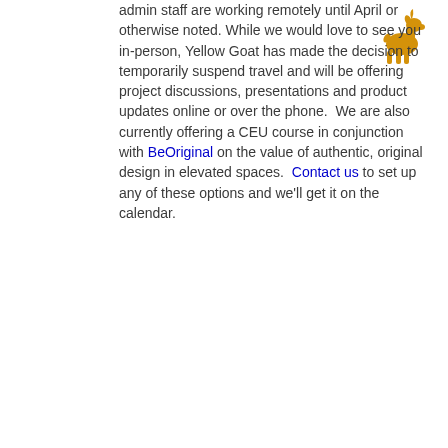[Figure (illustration): Yellow Goat logo — a simple golden/amber-colored goat silhouette facing right, top-right corner of the page]
admin staff are working remotely until April or otherwise noted. While we would love to see you in-person, Yellow Goat has made the decision to temporarily suspend travel and will be offering project discussions, presentations and product updates online or over the phone. We are also currently offering a CEU course in conjunction with BeOriginal on the value of authentic, original design in elevated spaces. Contact us to set up any of these options and we'll get it on the calendar.